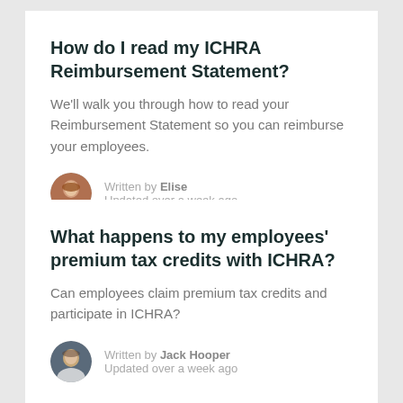How do I read my ICHRA Reimbursement Statement?
We'll walk you through how to read your Reimbursement Statement so you can reimburse your employees.
Written by Elise
Updated over a week ago
What happens to my employees' premium tax credits with ICHRA?
Can employees claim premium tax credits and participate in ICHRA?
Written by Jack Hooper
Updated over a week ago